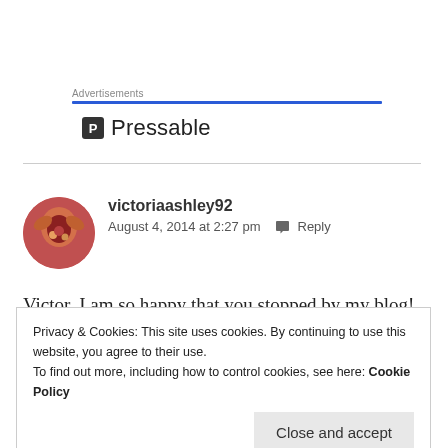Advertisements
[Figure (logo): Pressable logo with stylized P icon and text 'Pressable']
victoriaashley92
August 4, 2014 at 2:27 pm  Reply
[Figure (photo): Round avatar photo showing a floral/food image]
Victor, I am so happy that you stopped by my blog! Your
Privacy & Cookies: This site uses cookies. By continuing to use this website, you agree to their use.
To find out more, including how to control cookies, see here: Cookie Policy
Close and accept
cannot wait to use some of your posts as future guides